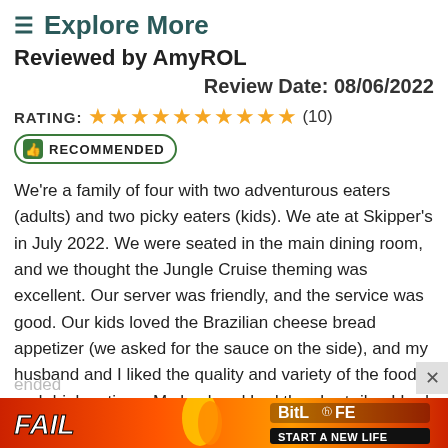≡ Explore More
Reviewed by AmyROL
Review Date: 08/06/2022
RATING: ★★★★★★★★★★ (10)
RECOMMENDED
We're a family of four with two adventurous eaters (adults) and two picky eaters (kids). We ate at Skipper's in July 2022. We were seated in the main dining room, and we thought the Jungle Cruise theming was excellent. Our server was friendly, and the service was good. Our kids loved the Brazilian cheese bread appetizer (we asked for the sauce on the side), and my husband and I liked the quality and variety of the food and drink options. My husband had the short ribs, I had the Thai noodles with chicken, and the kids both had chicken bites with broccoli and white rice. My littlest ended which al
[Figure (other): BitLife advertisement banner with FAIL text and cartoon character, fire, and 'START A NEW LIFE' text]